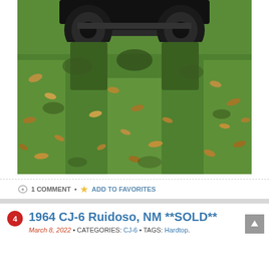[Figure (photo): Rear view of a dark-colored Jeep CJ-6 with large off-road tires, parked on green grass with fallen leaves scattered around.]
1 COMMENT • ADD TO FAVORITES
1964 CJ-6 Ruidoso, NM **SOLD**
March 8, 2022 • CATEGORIES: CJ-6 • TAGS: Hardtop.